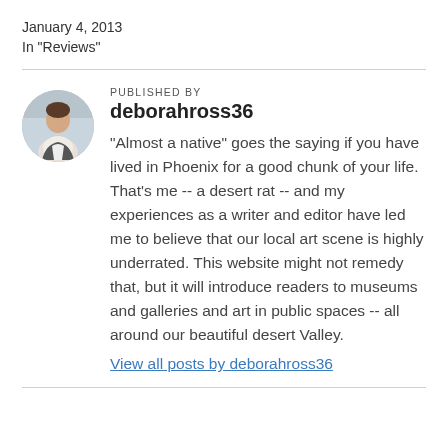January 4, 2013
In "Reviews"
PUBLISHED BY
deborahross36
"Almost a native" goes the saying if you have lived in Phoenix for a good chunk of your life. That's me -- a desert rat -- and my experiences as a writer and editor have led me to believe that our local art scene is highly underrated. This website might not remedy that, but it will introduce readers to museums and galleries and art in public spaces -- all around our beautiful desert Valley.
View all posts by deborahross36